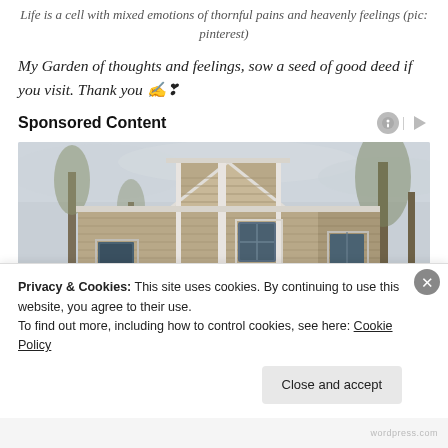Life is a cell with mixed emotions of thornful pains and heavenly feelings (pic: pinterest)
My Garden of thoughts and feelings, sow a seed of good deed if you visit. Thank you ✍❣
Sponsored Content
[Figure (photo): Exterior photograph of a tan/beige sided residential house with white trim, windows, dormers, and bare trees visible in the background against an overcast sky.]
Privacy & Cookies: This site uses cookies. By continuing to use this website, you agree to their use.
To find out more, including how to control cookies, see here: Cookie Policy
Close and accept